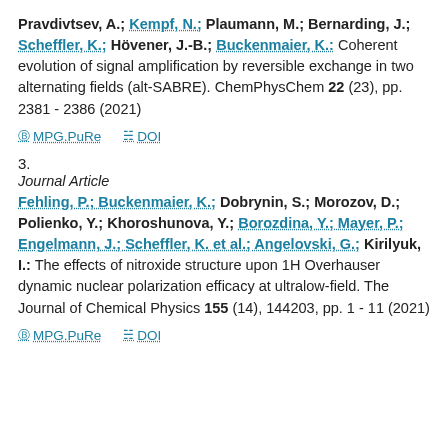Pravdivtsev, A.; Kempf, N.; Plaumann, M.; Bernarding, J.; Scheffler, K.; Hövener, J.-B.; Buckenmaier, K.: Coherent evolution of signal amplification by reversible exchange in two alternating fields (alt-SABRE). ChemPhysChem 22 (23), pp. 2381 - 2386 (2021)
MPG.PuRe   DOI
3.
Journal Article
Fehling, P.; Buckenmaier, K.; Dobrynin, S.; Morozov, D.; Polienko, Y.; Khoroshunova, Y.; Borozdina, Y.; Mayer, P.; Engelmann, J.; Scheffler, K. et al.; Angelovski, G.; Kirilyuk, I.: The effects of nitroxide structure upon 1H Overhauser dynamic nuclear polarization efficacy at ultralow-field. The Journal of Chemical Physics 155 (14), 144203, pp. 1 - 11 (2021)
MPG.PuRe   DOI